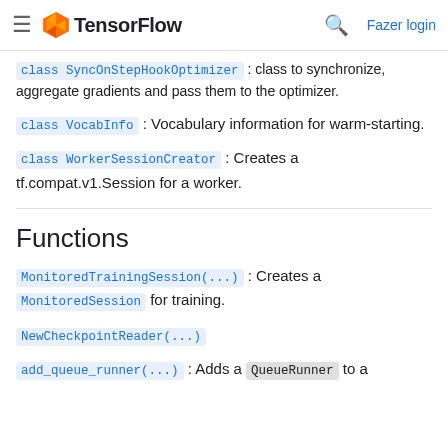TensorFlow — Fazer login
class SyncOnStepHookOptimizer : class to synchronize, aggregate gradients and pass them to the optimizer.
class VocabInfo : Vocabulary information for warm-starting.
class WorkerSessionCreator : Creates a tf.compat.v1.Session for a worker.
Functions
MonitoredTrainingSession(...) : Creates a MonitoredSession for training.
NewCheckpointReader(...)
add_queue_runner(...) : Adds a QueueRunner to a collection to be run at the end of the session.